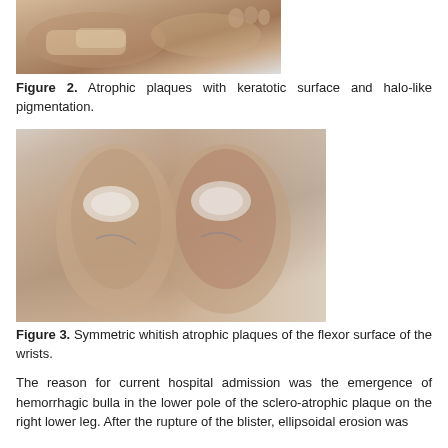[Figure (photo): Clinical photo of atrophic plaques with keratotic surface and halo-like pigmentation on a foot/ankle]
Figure 2. Atrophic plaques with keratotic surface and halo-like pigmentation.
[Figure (photo): Clinical photo showing symmetric whitish atrophic plaques of the flexor surface of the wrists]
Figure 3. Symmetric whitish atrophic plaques of the flexor surface of the wrists.
The reason for current hospital admission was the emergence of hemorrhagic bulla in the lower pole of the sclero-atrophic plaque on the right lower leg. After the rupture of the blister, ellipsoidal erosion was